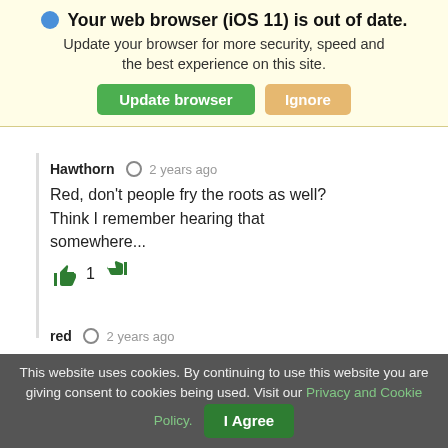🌐 Your web browser (iOS 11) is out of date. Update your browser for more security, speed and the best experience on this site. [Update browser] [Ignore]
Hawthorn  2 years ago
Red, don't people fry the roots as well? Think I remember hearing that somewhere...
👍 1 👎
red  2 years ago
Yeah, but it tastes like burned dirt/mezcal.
This website uses cookies. By continuing to use this website you are giving consent to cookies being used. Visit our Privacy and Cookie Policy. [I Agree]